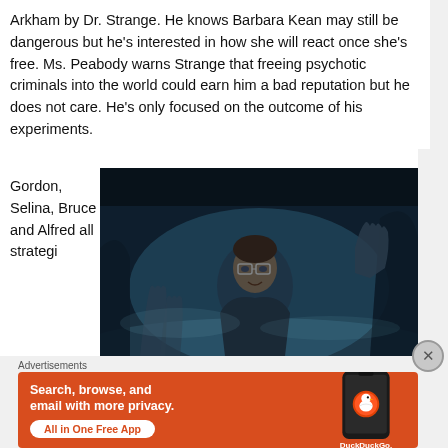Arkham by Dr. Strange. He knows Barbara Kean may still be dangerous but he’s interested in how she will react once she’s free. Ms. Peabody warns Strange that freeing psychotic criminals into the world could earn him a bad reputation but he does not care. He’s only focused on the outcome of his experiments.
Gordon, Selina, Bruce and Alfred all strategi
[Figure (photo): A dark movie still showing a man with glasses looking distressed, surrounded by figures in a foggy blue-tinted scene.]
Advertisements
[Figure (infographic): DuckDuckGo advertisement banner on orange background: Search, browse, and email with more privacy. All in One Free App. Shows DuckDuckGo logo on a phone.]